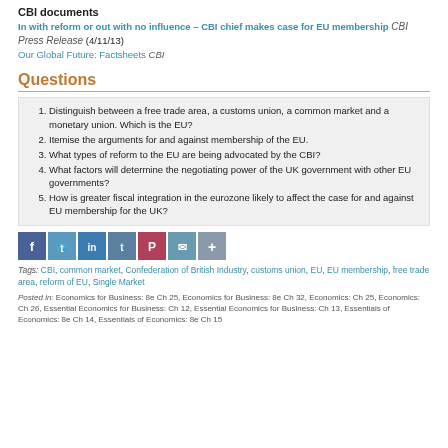CBI documents
In with reform or out with no influence – CBI chief makes case for EU membership CBI Press Release (4/11/13)
Our Global Future: Factsheets CBI
Questions
Distinguish between a free trade area, a customs union, a common market and a monetary union. Which is the EU?
Itemise the arguments for and against membership of the EU.
What types of reform to the EU are being advocated by the CBI?
What factors will determine the negotiating power of the UK government with other EU governments?
How is greater fiscal integration in the eurozone likely to affect the case for and against EU membership for the UK?
[Figure (infographic): Social media sharing buttons: Facebook, Twitter, LinkedIn, Tumblr, Pinterest, Email, More]
Tags: CBI, common market, Confederation of British Industry, customs union, EU, EU membership, free trade area, reform of EU, Single Market
Posted in: Economics for Business: 8e Ch 25, Economics for Business: 8e Ch 32, Economics: Ch 25, Economics: Ch 26, Essential Economics for Business: Ch 12, Essential Economics for Business: Ch 13, Essentials of Economics: 8e Ch 14, Essentials of Economics: 8e Ch 15